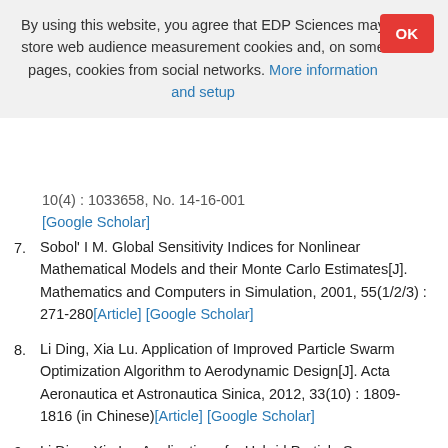By using this website, you agree that EDP Sciences may store web audience measurement cookies and, on some pages, cookies from social networks. More information and setup
7. Sobol' I M. Global Sensitivity Indices for Nonlinear Mathematical Models and their Monte Carlo Estimates[J]. Mathematics and Computers in Simulation, 2001, 55(1/2/3) : 271-280[Article] [Google Scholar]
8. Li Ding, Xia Lu. Application of Improved Particle Swarm Optimization Algorithm to Aerodynamic Design[J]. Acta Aeronautica et Astronautica Sinica, 2012, 33(10) : 1809-1816 (in Chinese)[Article] [Google Scholar]
9. Li Ding, Xia Lu. Application of a Hybrid Particle Swarm Optimization to Airfoil Design[J]. Aeronautical Computing Technique, 2010, 40(6) : 66-71 (in Chinese)[Article] [Google Scholar]